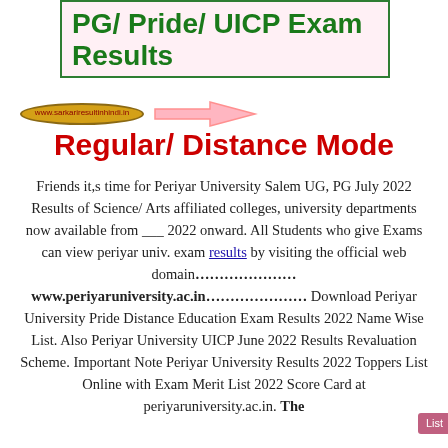PG/ Pride/ UICP Exam Results
[Figure (infographic): An oval/pill shaped badge with a URL text and a pink arrow pointing left]
Regular/ Distance Mode
Friends it,s time for Periyar University Salem UG, PG July 2022 Results of Science/ Arts affiliated colleges, university departments now available from ___ 2022 onward. All Students who give Exams can view periyar univ. exam results by visiting the official web domain…………………www.periyaruniversity.ac.in………………… Download Periyar University Pride Distance Education Exam Results 2022 Name Wise List. Also Periyar University UICP June 2022 Results Revaluation Scheme. Important Note Periyar University Results 2022 Toppers List Online with Exam Merit List 2022 Score Card at periyaruniversity.ac.in. The